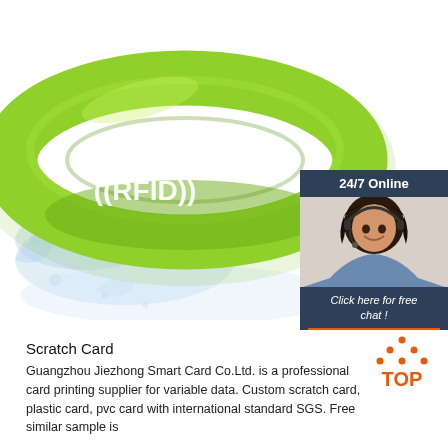[Figure (photo): Green silicone RFID wristband with '((RFID))' text printed on it, shown against a white background with blue water splash effect. A customer service chat widget is shown in the top right corner with '24/7 Online' header, a female agent photo, 'Click here for free chat!' text, and an orange QUOTATION button.]
[Figure (logo): Orange 'TOP' badge with dots forming a triangle above the word TOP in orange text.]
Scratch Card
Guangzhou Jiezhong Smart Card Co.Ltd. is a professional card printing supplier for variable data. Custom scratch card, plastic card, pvc card with international standard SGS. Free similar sample is